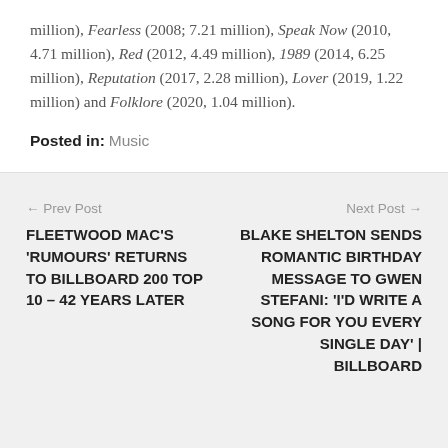million), Fearless (2008; 7.21 million), Speak Now (2010, 4.71 million), Red (2012, 4.49 million), 1989 (2014, 6.25 million), Reputation (2017, 2.28 million), Lover (2019, 1.22 million) and Folklore (2020, 1.04 million).
Posted in: Music
← Prev Post
FLEETWOOD MAC'S 'RUMOURS' RETURNS TO BILLBOARD 200 TOP 10 – 42 YEARS LATER
Next Post →
BLAKE SHELTON SENDS ROMANTIC BIRTHDAY MESSAGE TO GWEN STEFANI: 'I'D WRITE A SONG FOR YOU EVERY SINGLE DAY' | BILLBOARD